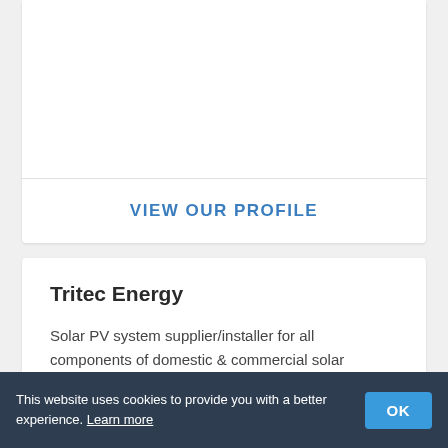VIEW OUR PROFILE
Tritec Energy
Solar PV system supplier/installer for all components of domestic & commercial solar photovoltaic systems and battery storage systems
This website uses cookies to provide you with a better experience. Learn more